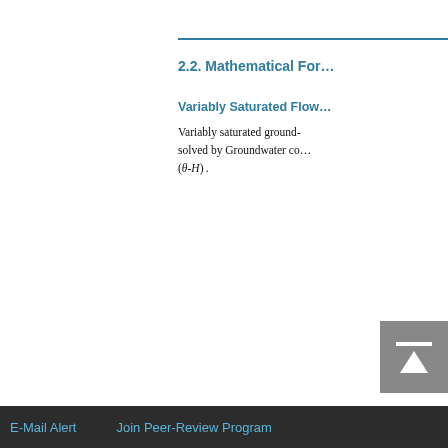2.2. Mathematical For…
Variably Saturated Flow
Variably saturated ground- … solved by Groundwater co… (θ-H) .
E-Mail Alert   Join Peer-Review Program